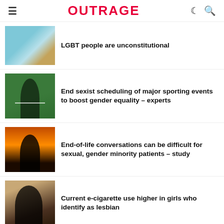OUTRAGE
LGBT people are unconstitutional
End sexist scheduling of major sporting events to boost gender equality – experts
End-of-life conversations can be difficult for sexual, gender minority patients – study
Current e-cigarette use higher in girls who identify as lesbian